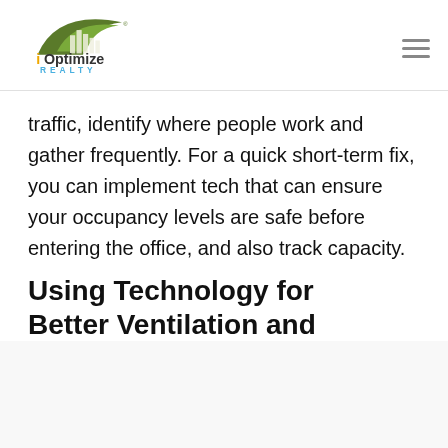iOptimize Realty logo and navigation
traffic, identify where people work and gather frequently. For a quick short-term fix, you can implement tech that can ensure your occupancy levels are safe before entering the office, and also track capacity.
Using Technology for Better Ventilation and